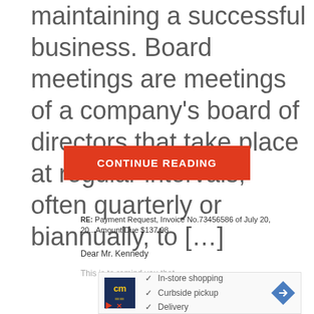maintaining a successful business. Board meetings are meetings of a company's board of directors that take place at regular intervals, often quarterly or biannually, to […]
CONTINUE READING
RE: Payment Request, Invoice No.73456586 of July 20, 20...Amount Due $137.98
Dear Mr. Kennedy
This is to remind you that...
[Figure (screenshot): Advertisement box showing a logo with 'cm' text, checkmarks listing 'In-store shopping', 'Curbside pickup', 'Delivery', and a blue diamond navigation arrow icon.]